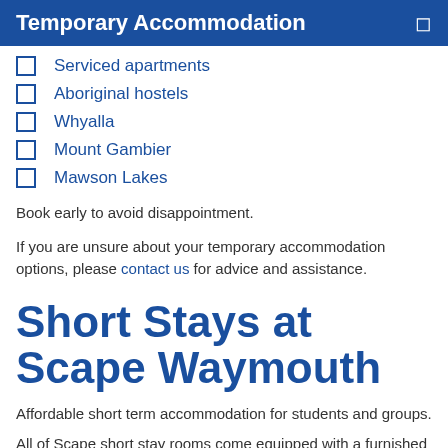Temporary Accommodation
Serviced apartments
Aboriginal hostels
Whyalla
Mount Gambier
Mawson Lakes
Book early to avoid disappointment.
If you are unsure about your temporary accommodation options, please contact us for advice and assistance.
Short Stays at Scape Waymouth
Affordable short term accommodation for students and groups.
All of Scape short stay rooms come equipped with a furnished kitchen including appliances, crockery and cutlery whilst fresh linen…